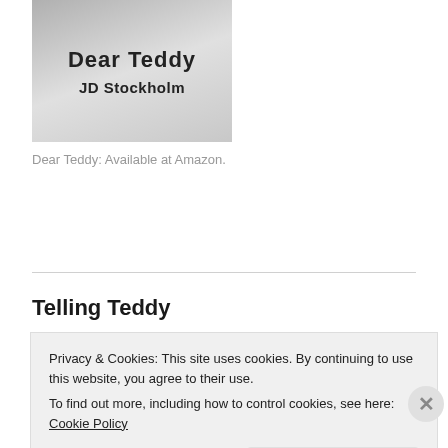[Figure (illustration): Book cover for 'Dear Teddy' by JD Stockholm — grayscale image with handwritten-style text showing 'Dear Teddy' and 'JD Stockholm']
Dear Teddy: Available at Amazon.
Telling Teddy
[Figure (illustration): Book cover for 'Telling Teddy' — light/cream background with blue handwritten-style text reading 'Telling Teddy']
Privacy & Cookies: This site uses cookies. By continuing to use this website, you agree to their use.
To find out more, including how to control cookies, see here: Cookie Policy
Close and accept